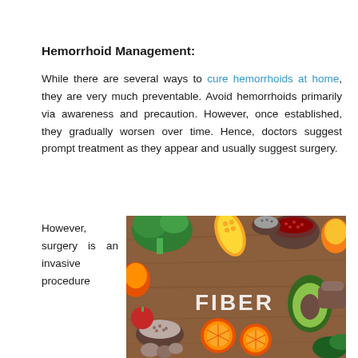Hemorrhoid Management:
While there are several ways to cure hemorrhoids at home, they are very much preventable. Avoid hemorrhoids primarily via awareness and precaution. However, once established, they gradually worsen over time. Hence, doctors suggest prompt treatment as they appear and usually suggest surgery.
However, surgery is an invasive procedure
[Figure (photo): A flat-lay photograph of various high-fiber foods including broccoli, avocado, oranges, corn, bread, seeds, nuts, and other vegetables arranged around a wooden board with the word FIBER written in white chalk letters.]